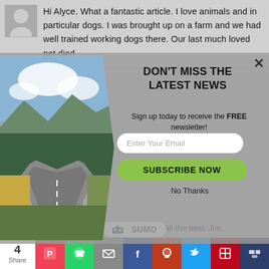Hi Alyce. What a fantastic article. I love animals and in particular dogs. I was brought up on a farm and we had well trained working dogs there. Our last much loved pet died
[Figure (photo): Winding rural road through forested landscape with mountains in background under partly cloudy sky]
DON'T MISS THE LATEST NEWS
Sign up today to receive the FREE newsletter!
Enter Your Email
SUBSCRIBE NOW
No Thanks
these organizations in your article. All the best. Jim
Reply
SUMO
4 Share